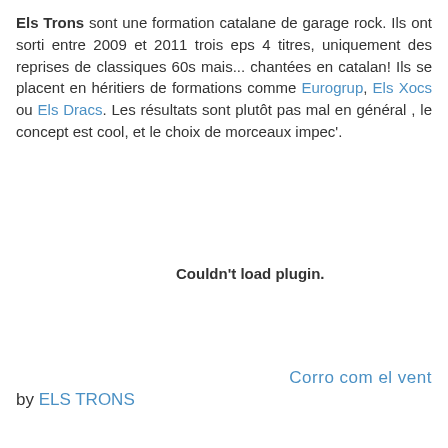Els Trons sont une formation catalane de garage rock. Ils ont sorti entre 2009 et 2011 trois eps 4 titres, uniquement des reprises de classiques 60s mais... chantées en catalan! Ils se placent en héritiers de formations comme Eurogrup, Els Xocs ou Els Dracs. Les résultats sont plutôt pas mal en général , le concept est cool, et le choix de morceaux impec'.
Couldn't load plugin.
Corro com el vent
by ELS TRONS